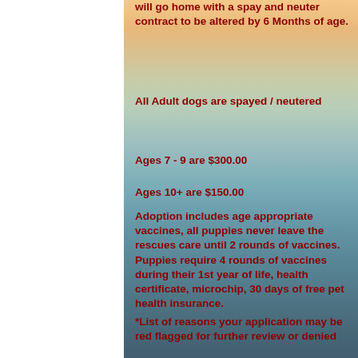will go home with a spay and neuter contract to be altered by 6 Months of age.
All Adult dogs are spayed / neutered
Ages 7 - 9 are $300.00
Adoption includes age appropriate vaccines, all puppies never leave the rescues care until 2 rounds of vaccines. Puppies require 4 rounds of vaccines during their 1st year of life, health certificate, microchip, 30 days of free pet health insurance.
*List of reasons your application may be red flagged for further review or denied